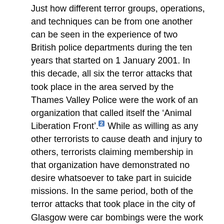Just how different terror groups, operations, and techniques can be from one another can be seen in the experience of two British police departments during the ten years that started on 1 January 2001. In this decade, all six the terror attacks that took place in the area served by the Thames Valley Police were the work of an organization that called itself the ‘Animal Liberation Front’.[2] While as willing as any other terrorists to cause death and injury to others, terrorists claiming membership in that organization have demonstrated no desire whatsoever to take part in suicide missions. In the same period, both of the terror attacks that took place in the city of Glasgow were car bombings were the work of Islamists who expected to die in the explosions that they set off.
An organization that imported doctrine based on the experience of the Thames Valley Police would be well prepared for a certain kind of terrorism.[3] That is, they would expect to deal with letter bombs and arson attacks, but with car bombs and car bombings. They would be...